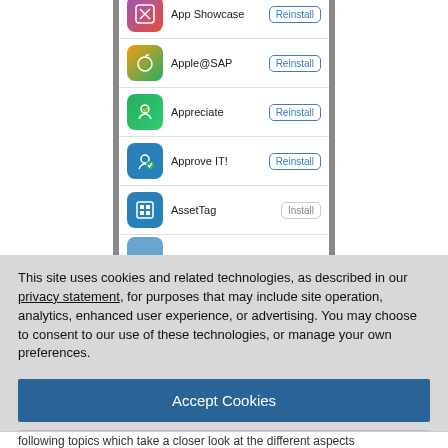[Figure (screenshot): Mobile phone screen showing an app list with entries: App Showcase (Reinstall), Apple@SAP (Reinstall), Appreciate (Reinstall), Approve IT! (Reinstall), AssetTag (Install), and a partially visible entry below.]
This site uses cookies and related technologies, as described in our privacy statement, for purposes that may include site operation, analytics, enhanced user experience, or advertising. You may choose to consent to our use of these technologies, or manage your own preferences.
Accept Cookies
More Information
Privacy Policy | Powered by: TrustArc
following topics which take a closer look at the different aspects of app discoverability...